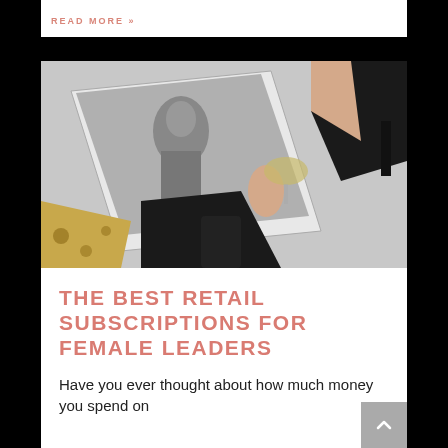READ MORE »
[Figure (photo): Overhead view of a woman's hands holding a glass of wine, resting on a fashion magazine with a black-and-white photo of a model, with leopard print fabric and a black high-heel shoe visible]
THE BEST RETAIL SUBSCRIPTIONS FOR FEMALE LEADERS
Have you ever thought about how much money you spend on